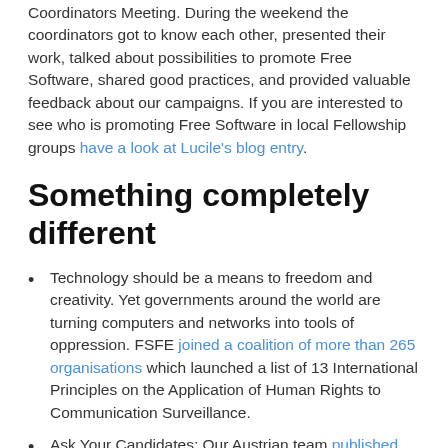Coordinators Meeting. During the weekend the coordinators got to know each other, presented their work, talked about possibilities to promote Free Software, shared good practices, and provided valuable feedback about our campaigns. If you are interested to see who is promoting Free Software in local Fellowship groups have a look at Lucile's blog entry.
Something completely different
Technology should be a means to freedom and creativity. Yet governments around the world are turning computers and networks into tools of oppression. FSFE joined a coalition of more than 265 organisations which launched a list of 13 International Principles on the Application of Human Rights to Communication Surveillance.
Ask Your Candidates: Our Austrian team published their questions and answers for the Nationalratswahl (federal election), and the German